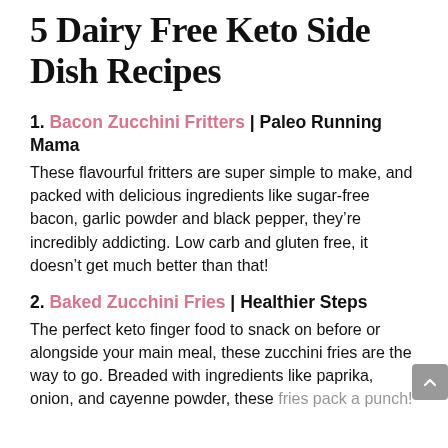5 Dairy Free Keto Side Dish Recipes
1. Bacon Zucchini Fritters | Paleo Running Mama
These flavourful fritters are super simple to make, and packed with delicious ingredients like sugar-free bacon, garlic powder and black pepper, they’re incredibly addicting. Low carb and gluten free, it doesn’t get much better than that!
2. Baked Zucchini Fries | Healthier Steps
The perfect keto finger food to snack on before or alongside your main meal, these zucchini fries are the way to go. Breaded with ingredients like paprika, onion, and cayenne powder, these fries pack a punch!